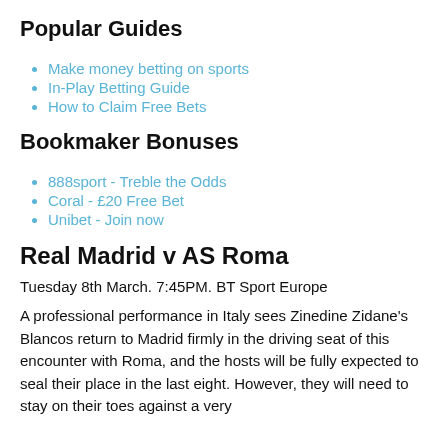Popular Guides
Make money betting on sports
In-Play Betting Guide
How to Claim Free Bets
Bookmaker Bonuses
888sport - Treble the Odds
Coral - £20 Free Bet
Unibet - Join now
Real Madrid v AS Roma
Tuesday 8th March. 7:45PM. BT Sport Europe
A professional performance in Italy sees Zinedine Zidane's Blancos return to Madrid firmly in the driving seat of this encounter with Roma, and the hosts will be fully expected to seal their place in the last eight. However, they will need to stay on their toes against a very